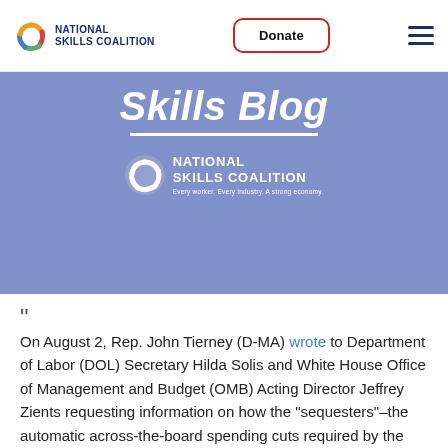[Figure (logo): National Skills Coalition logo with colorful interlocking shapes icon and bold navy text reading NATIONAL SKILLS COALITION]
Donate
[Figure (illustration): Hamburger menu icon with three navy horizontal lines]
Skills Blog
[Figure (logo): National Skills Coalition logo in white on blue banner background, with tagline: Every worker. Every industry. A strong economy.]
“
On August 2, Rep. John Tierney (D-MA) wrote to Department of Labor (DOL) Secretary Hilda Solis and White House Office of Management and Budget (OMB) Acting Director Jeffrey Zients requesting information on how the “sequesters”–the automatic across-the-board spending cuts required by the Budget Control Act (BCA)